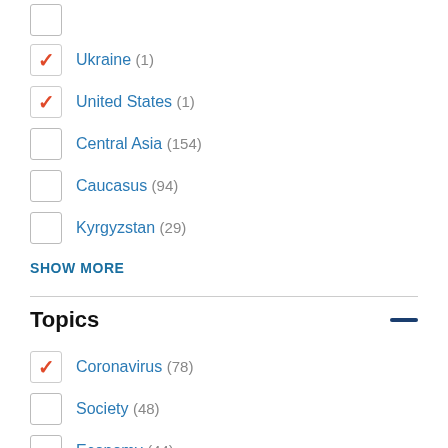Ukraine (1) [checked]
United States (1) [checked]
Central Asia (154)
Caucasus (94)
Kyrgyzstan (29)
SHOW MORE
Topics
Coronavirus (78) [checked]
Society (48)
Economy (44)
Politics (31)